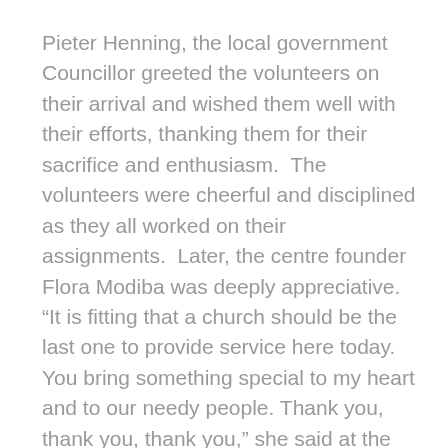Pieter Henning, the local government Councillor greeted the volunteers on their arrival and wished them well with their efforts, thanking them for their sacrifice and enthusiasm.  The volunteers were cheerful and disciplined as they all worked on their assignments.  Later, the centre founder Flora Modiba was deeply appreciative. “It is fitting that a church should be the last one to provide service here today. You bring something special to my heart and to our needy people. Thank you, thank you, thank you,” she said at the hand-over ceremony. The school kits, blankets, and  hygiene kits were then distributed to the needy recipients present.